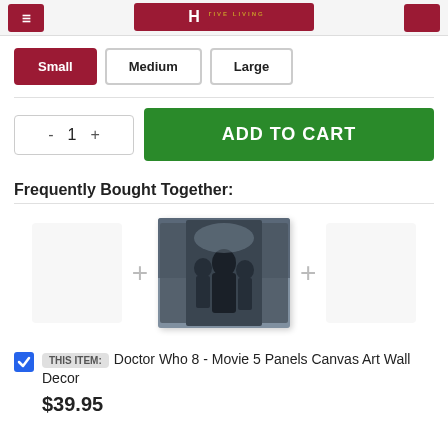[Figure (screenshot): Partial website header with red logo and 'CREATIVE LIVING' text in orange/gold on dark red background]
Small (selected)
Medium
Large
- 1 +
ADD TO CART
Frequently Bought Together:
[Figure (photo): Doctor Who 5-panel canvas wall art showing TV show characters in a dramatic pose]
THIS ITEM: Doctor Who 8 - Movie 5 Panels Canvas Art Wall Decor
$39.95